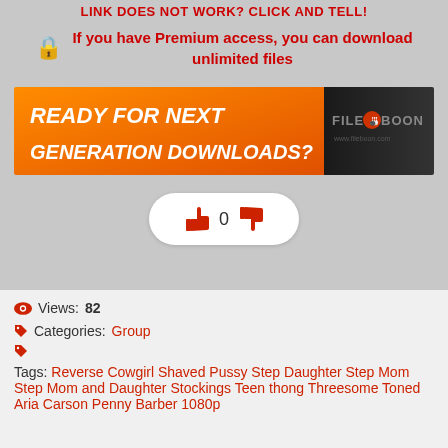LINK DOES NOT WORK? CLICK AND TELL!
🔒 If you have Premium access, you can download unlimited files
[Figure (illustration): FileBoon advertisement banner: orange and black background with text 'READY FOR NEXT GENERATION DOWNLOADS?' and FileBoon logo on the right]
[Figure (infographic): Vote widget pill with thumbs up icon, number 0, and thumbs down icon in red on white rounded pill background]
Views: 82
Categories: Group
Tags: Reverse Cowgirl Shaved Pussy Step Daughter Step Mom Step Mom and Daughter Stockings Teen thong Threesome Toned Aria Carson Penny Barber 1080p